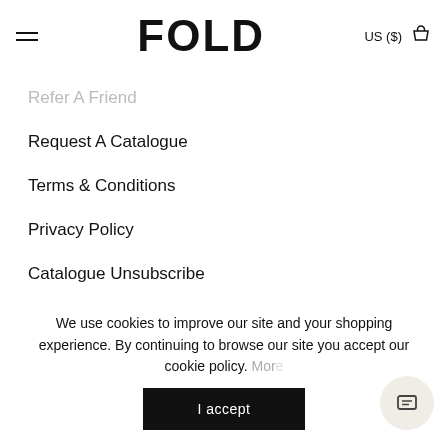FOLD — US ($)
Refer A Friend
Request A Catalogue
Terms & Conditions
Privacy Policy
Catalogue Unsubscribe
INTO THE FOLD
We use cookies to improve our site and your shopping experience. By continuing to browse our site you accept our cookie policy. More
I accept